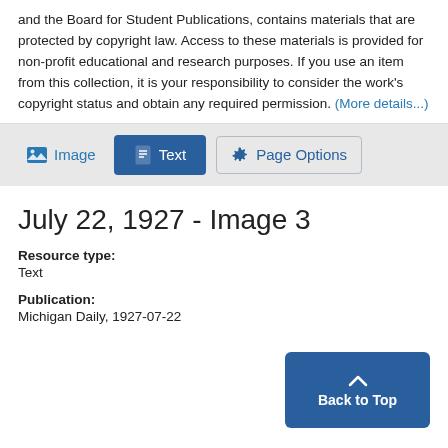and the Board for Student Publications, contains materials that are protected by copyright law. Access to these materials is provided for non-profit educational and research purposes. If you use an item from this collection, it is your responsibility to consider the work's copyright status and obtain any required permission. (More details...)
[Figure (screenshot): Toolbar with Image, Text, and Page Options buttons on a gray background]
July 22, 1927 - Image 3
Resource type: Text
Publication: Michigan Daily, 1927-07-22